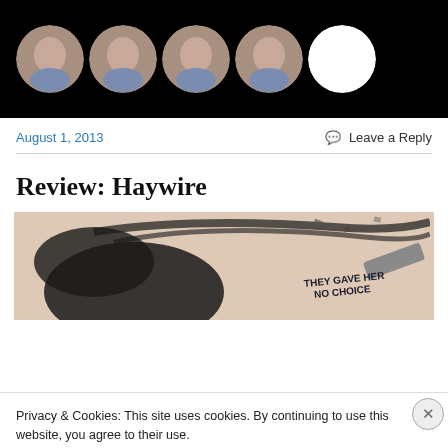[Figure (photo): Black background with a row of five circular avatar photos of a bald smiling man, and one white circle at the end]
August 1, 2013
Leave a Reply
Review: Haywire
[Figure (photo): Movie banner for Haywire showing a woman with dark flying hair and text 'THEY GAVE HER NO CHOICE']
Privacy & Cookies: This site uses cookies. By continuing to use this website, you agree to their use.
To find out more, including how to control cookies, see here: Cookie Policy
Close and accept